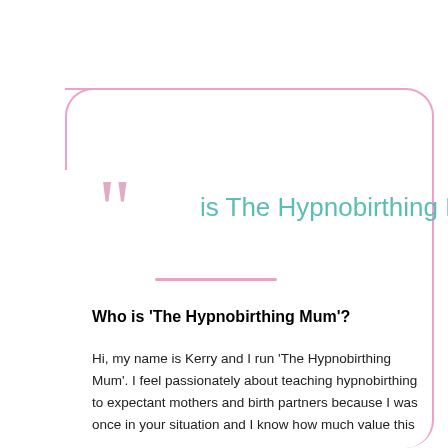Who is The Hypnobirthing Mum?
Who is ‘The Hypnobirthing Mum’?
Hi, my name is Kerry and I run ‘The Hypnobirthing Mum’. I feel passionately about teaching hypnobirthing to expectant mothers and birth partners because I was once in your situation and I know how much value this